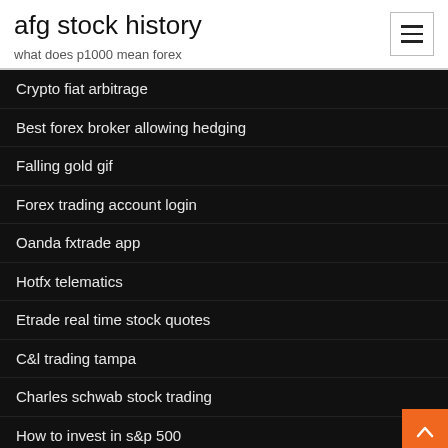afg stock history
what does p1000 mean forex
Crypto fiat arbitrage
Best forex broker allowing hedging
Falling gold gif
Forex trading account login
Oanda fxtrade app
Hotfx telematics
Etrade real time stock quotes
C&l trading tampa
Charles schwab stock trading
How to invest in s&p 500